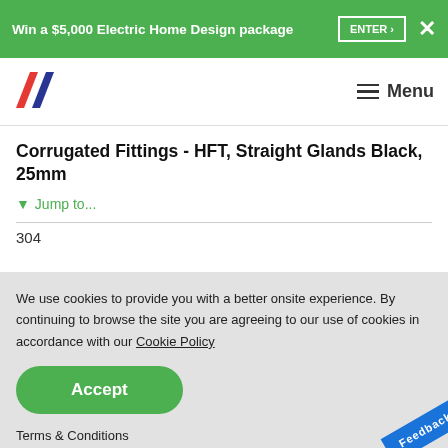Win a $5,000 Electric Home Design package  ENTER ›  ✕
[Figure (logo): Brand logo with two diagonal parallelogram shapes in red and navy blue]
Corrugated Fittings - HFT, Straight Glands Black, 25mm
▼ Jump to...
304
We use cookies to provide you with a better onsite experience. By continuing to browse the site you are agreeing to our use of cookies in accordance with our Cookie Policy
Accept
Terms & Conditions
*RRP prices are not listed for this range as they are not consumer products, for more information on your pricing please connect with your wholesaler...